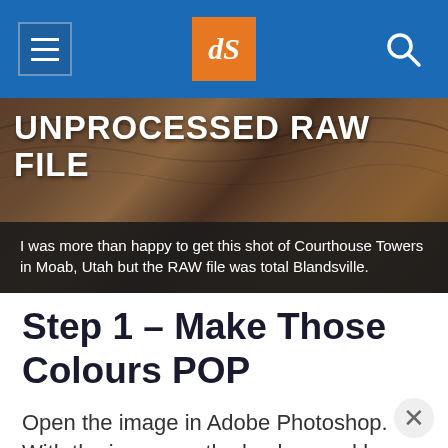dPS navigation header with hamburger menu, dPS logo, and search icon
[Figure (photo): Hero image of Courthouse Towers in Moab, Utah – rocky brown landscape. Text overlay reads 'UNPROCESSED RAW FILE' with caption below.]
I was more than happy to get this shot of Courthouse Towers in Moab, Utah but the RAW file was total Blandsville.
Step 1 – Make Those Colours POP
Open the image in Adobe Photoshop. With the image on the background layer of Photoshop,